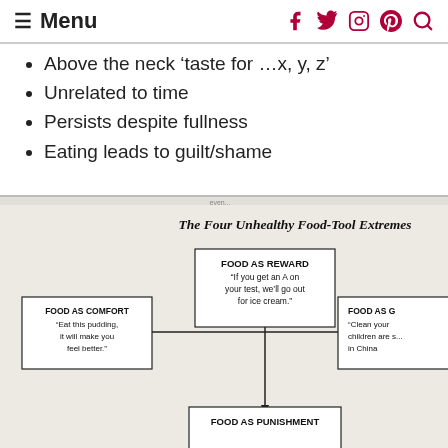≡ Menu [social icons: Facebook, Twitter, Instagram, Pinterest, Search]
Above the neck 'taste for …x, y, z'
Unrelated to time
Persists despite fullness
Eating leads to guilt/shame
[Figure (flowchart): Diagram titled 'The Four Unhealthy Food-Tool Extremes' showing four boxes connected by bidirectional arrows in a cross pattern: FOOD AS REWARD (top) - 'If you get an A on your test, we'll go out for ice cream.', FOOD AS COMFORT (left) - 'Eat this pudding, it will make you feel better.', FOOD AS G[IFT] (right, partially cropped) - 'Clean your children are s... in China', FOOD AS PUNISHMENT (bottom, partially cropped).]